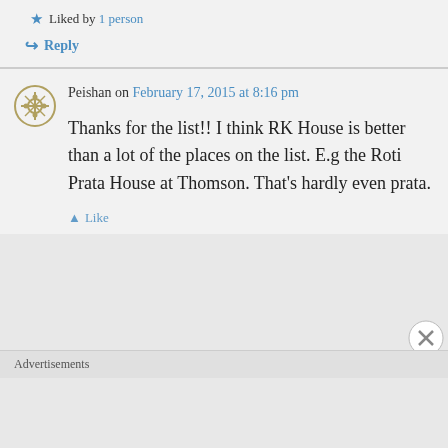Liked by 1 person
Reply
Peishan on February 17, 2015 at 8:16 pm
Thanks for the list!! I think RK House is better than a lot of the places on the list. E.g the Roti Prata House at Thomson. That's hardly even prata.
Advertisements